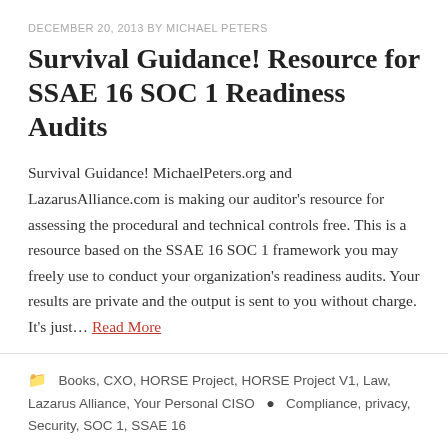DECEMBER 20, 2013 BY MICHAEL PETERS
Survival Guidance! Resource for SSAE 16 SOC 1 Readiness Audits
Survival Guidance! MichaelPeters.org and LazarusAlliance.com is making our auditor's resource for assessing the procedural and technical controls free. This is a resource based on the SSAE 16 SOC 1 framework you may freely use to conduct your organization's readiness audits. Your results are private and the output is sent to you without charge. It's just… Read More
Books, CXO, HORSE Project, HORSE Project V1, Law, Lazarus Alliance, Your Personal CISO ● Compliance, privacy, Security, SOC 1, SSAE 16
Looking for Something?